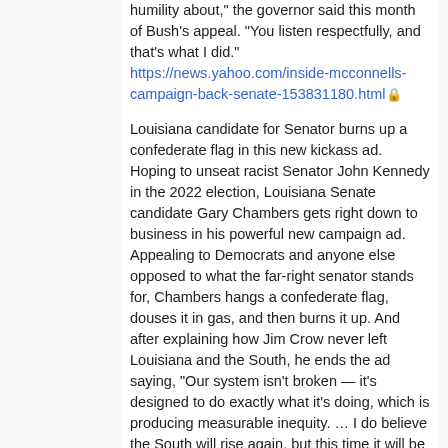humility about," the governor said this month of Bush's appeal. "You listen respectfully, and that's what I did." https://news.yahoo.com/inside-mcconnells-campaign-back-senate-153831180.html 🔒
Louisiana candidate for Senator burns up a confederate flag in this new kickass ad. Hoping to unseat racist Senator John Kennedy in the 2022 election, Louisiana Senate candidate Gary Chambers gets right down to business in his powerful new campaign ad. Appealing to Democrats and anyone else opposed to what the far-right senator stands for, Chambers hangs a confederate flag, douses it in gas, and then burns it up. And after explaining how Jim Crow never left Louisiana and the South, he ends the ad saying, "Our system isn't broken — it's designed to do exactly what it's doing, which is producing measurable inequity. … I do believe the South will rise again, but this time it will be on our terms." https://boingboing.net/2022/02/09/louisiana-candidate-running-against-sen-kennedy-t...